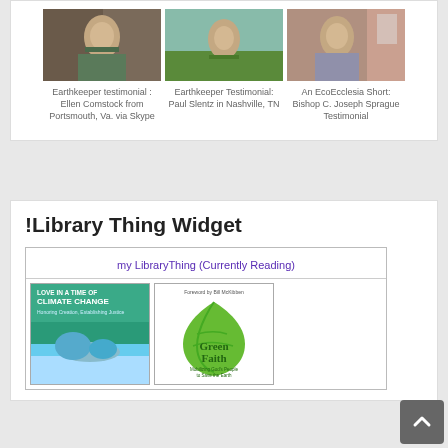[Figure (photo): Thumbnail of woman speaking, Earthkeeper testimonial Ellen Comstock]
Earthkeeper testimonial : Ellen Comstock from Portsmouth, Va. via Skype
[Figure (photo): Thumbnail of older man seated outdoors, Earthkeeper Testimonial Paul Slentz]
Earthkeeper Testimonial: Paul Slentz in Nashville, TN
[Figure (photo): Thumbnail of man speaking, An EcoEcclesia Short Bishop C. Joseph Sprague Testimonial]
An EcoEcclesia Short: Bishop C. Joseph Sprague Testimonial
!Library Thing Widget
my LibraryThing (Currently Reading)
[Figure (photo): Book cover: Love in a Time of Climate Change]
[Figure (photo): Book cover: Green Faith, Foreword by Bill McKibben]